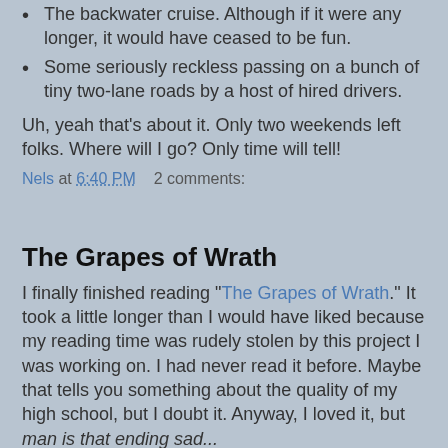The backwater cruise. Although if it were any longer, it would have ceased to be fun.
Some seriously reckless passing on a bunch of tiny two-lane roads by a host of hired drivers.
Uh, yeah that's about it. Only two weekends left folks. Where will I go? Only time will tell!
Nels at 6:40 PM    2 comments:
The Grapes of Wrath
I finally finished reading "The Grapes of Wrath." It took a little longer than I would have liked because my reading time was rudely stolen by this project I was working on. I had never read it before. Maybe that tells you something about the quality of my high school, but I doubt it. Anyway, I loved it, but man is that ending sad...
Nels at 5:58 PM    No comments: